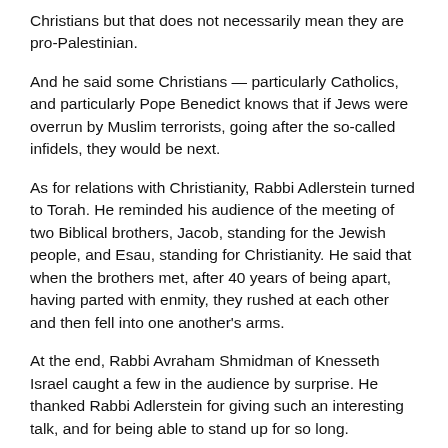Christians but that does not necessarily mean they are pro-Palestinian.
And he said some Christians — particularly Catholics, and particularly Pope Benedict knows that if Jews were overrun by Muslim terrorists, going after the so-called infidels, they would be next.
As for relations with Christianity, Rabbi Adlerstein turned to Torah. He reminded his audience of the meeting of two Biblical brothers, Jacob, standing for the Jewish people, and Esau, standing for Christianity. He said that when the brothers met, after 40 years of being apart, having parted with enmity, they rushed at each other and then fell into one another's arms.
At the end, Rabbi Avraham Shmidman of Knesseth Israel caught a few in the audience by surprise. He thanked Rabbi Adlerstein for giving such an interesting talk, and for being able to stand up for so long.
Rabbi Shmidman explained that Rabbi Adlerstein had left his Shabbat table early the previous night, donned a pair of sneakers and walked 2-1/2 miles to visit with some Southside friends on the divestment issue, and then walked back having come back